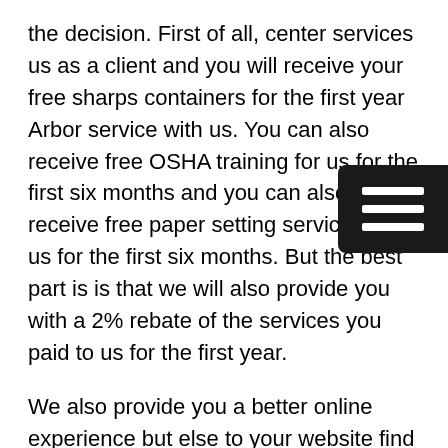the decision. First of all, center services us as a client and you will receive your free sharps containers for the first year Arbor service with us. You can also receive free OSHA training for us for the first six months and you can also receive free paper setting services with us for the first six months. But the best part is is that we will also provide you with a 2% rebate of the services you paid to us for the first year.
We also provide you a better online experience but else to your website find out everything about us, and like to, also find a large extensive database of MSDS sheets for yourself in your business, and also use the client portal that we mentioned above such also get a quote from us